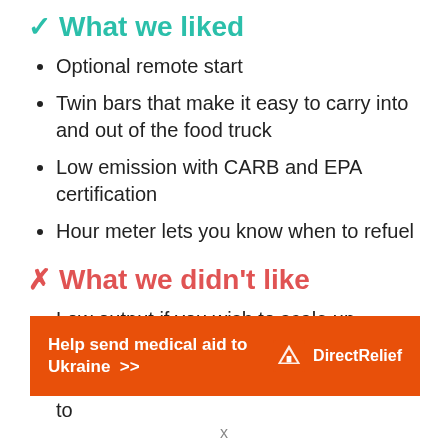✓ What we liked
Optional remote start
Twin bars that make it easy to carry into and out of the food truck
Low emission with CARB and EPA certification
Hour meter lets you know when to refuel
✗ What we didn't like
Low output if you wish to scale up operations
The wheels don't turn, making it difficult to
[Figure (infographic): Orange advertisement banner: 'Help send medical aid to Ukraine >>' with Direct Relief logo on right]